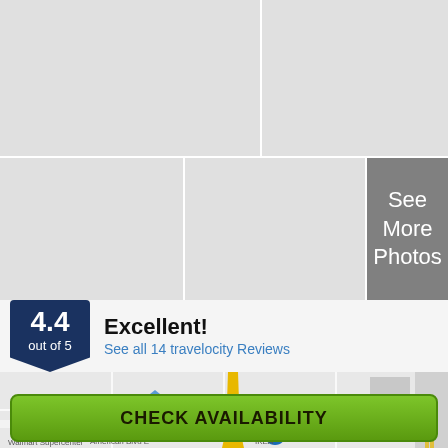[Figure (photo): Hotel photo grid with 5 image placeholders (light gray) and one 'See More Photos' overlay tile (dark gray)]
4.4 out of 5
Excellent!
See all 14 travelocity Reviews
[Figure (map): Street map showing area near 17th St with route 77, Walmart Supercenter, American Blvd E, and IKEA]
CHECK AVAILABILITY